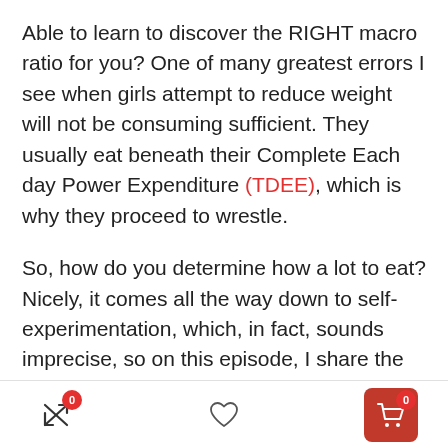Able to learn to discover the RIGHT macro ratio for you? One of many greatest errors I see when girls attempt to reduce weight will not be consuming sufficient. They usually eat beneath their Complete Each day Power Expenditure (TDEE), which is why they proceed to wrestle.
So, how do you determine how a lot to eat? Nicely, it comes all the way down to self-experimentation, which, in fact, sounds imprecise, so on this episode, I share the precise course of that we use with our shoppers to assist them nail down their ultimate macro ratio. I additionally spotlight numerous
Navigation bar with compare (0), heart, and cart (0) icons